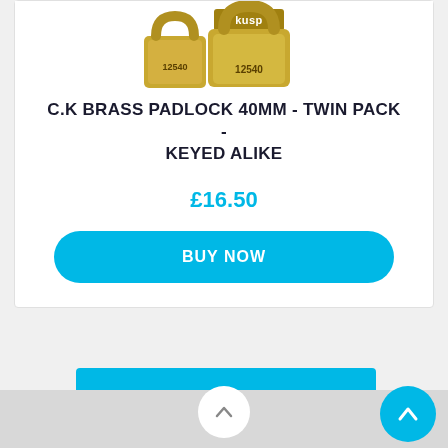[Figure (photo): Two gold brass padlocks with 'kusp' branding and number 12540 visible]
C.K BRASS PADLOCK 40MM - TWIN PACK - KEYED ALIKE
£16.50
BUY NOW
SHOW ALL